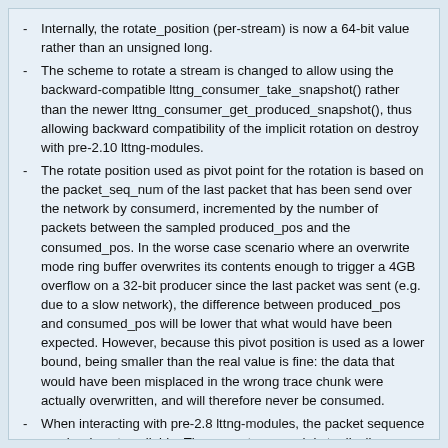Internally, the rotate_position (per-stream) is now a 64-bit value rather than an unsigned long.
The scheme to rotate a stream is changed to allow using the backward-compatible lttng_consumer_take_snapshot() rather than the newer lttng_consumer_get_produced_snapshot(), thus allowing backward compatibility of the implicit rotation on destroy with pre-2.10 lttng-modules.
The rotate position used as pivot point for the rotation is based on the packet_seq_num of the last packet that has been send over the network by consumerd, incremented by the number of packets between the sampled produced_pos and the consumed_pos. In the worse case scenario where an overwrite mode ring buffer overwrites its contents enough to trigger a 4GB overflow on a 32-bit producer since the last packet was sent (e.g. due to a slow network), the difference between produced_pos and consumed_pos will be lower that what would have been expected. However, because this pivot position is used as a lower bound, being smaller than the real value is fine: the data that would have been misplaced in the wrong trace chunk were actually overwritten, and will therefore never be consumed.
When interacting with pre-2.8 lttng-modules, the packet sequence number is not available. The current approach is to disallow rotations performed on sessions which have kernel tracing active with a pre-2.8 lttng-modules.